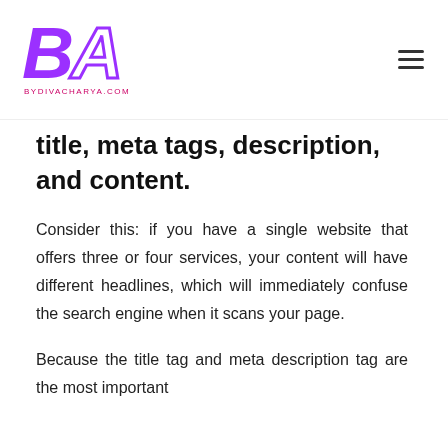BYDIVACHARYA.COM
title, meta tags, description, and content.
Consider this: if you have a single website that offers three or four services, your content will have different headlines, which will immediately confuse the search engine when it scans your page.
Because the title tag and meta description tag are the most important